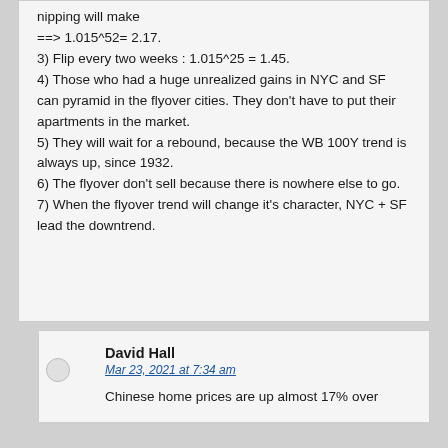nipping will make
===> 1.015^52= 2.17.
3) Flip every two weeks : 1.015^25 = 1.45.
4) Those who had a huge unrealized gains in NYC and SF can pyramid in the flyover cities. They don't have to put their apartments in the market.
5) They will wait for a rebound, because the WB 100Y trend is always up, since 1932.
6) The flyover don't sell because there is nowhere else to go.
7) When the flyover trend will change it's character, NYC + SF lead the downtrend.
David Hall
Mar 23, 2021 at 7:34 am
Chinese home prices are up almost 17% over